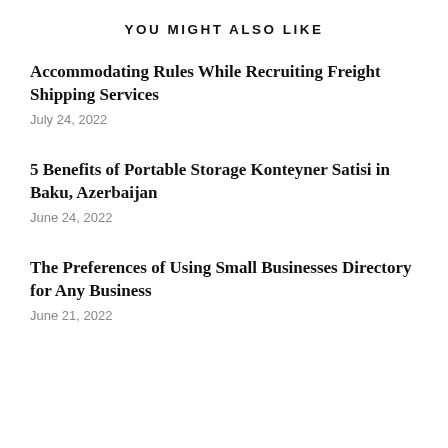YOU MIGHT ALSO LIKE
Accommodating Rules While Recruiting Freight Shipping Services
July 24, 2022
5 Benefits of Portable Storage Konteyner Satisi in Baku, Azerbaijan
June 24, 2022
The Preferences of Using Small Businesses Directory for Any Business
June 21, 2022